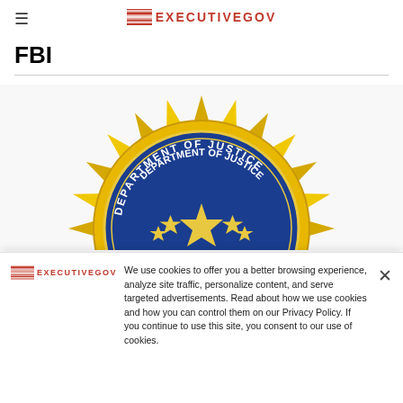ExecutiveGov
FBI
[Figure (logo): Department of Justice seal, circular blue and gold emblem, partially visible, cropped by cookie banner overlay]
We use cookies to offer you a better browsing experience, analyze site traffic, personalize content, and serve targeted advertisements. Read about how we use cookies and how you can control them on our Privacy Policy. If you continue to use this site, you consent to our use of cookies.